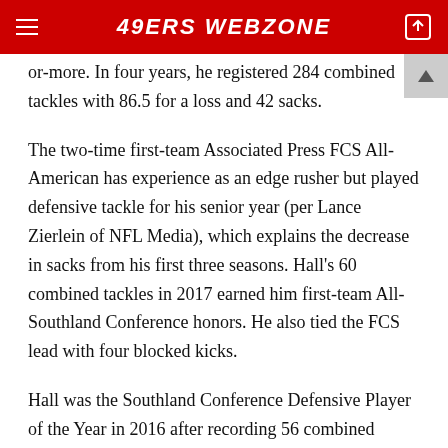49ERS WEBZONE
or-more. In four years, he registered 284 combined tackles with 86.5 for a loss and 42 sacks.
The two-time first-team Associated Press FCS All-American has experience as an edge rusher but played defensive tackle for his senior year (per Lance Zierlein of NFL Media), which explains the decrease in sacks from his first three seasons. Hall's 60 combined tackles in 2017 earned him first-team All-Southland Conference honors. He also tied the FCS lead with four blocked kicks.
Hall was the Southland Conference Defensive Player of the Year in 2016 after recording 56 combined tackles, 24.5 for a loss, 13 sacks, and three forced fumbles in